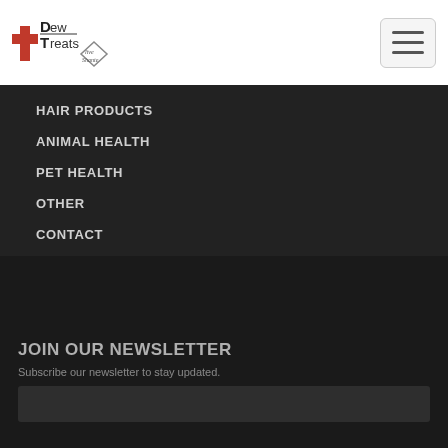[Figure (logo): Dew Treats logo with red cross/plus symbol and diamond shape with cursive text]
HAIR PRODUCTS
ANIMAL HEALTH
PET HEALTH
OTHER
CONTACT
JOIN OUR NEWSLETTER
Subscribe our newsletter to stay updated.